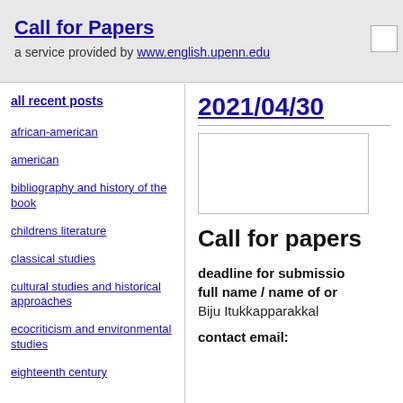Call for Papers
a service provided by www.english.upenn.edu
all recent posts
african-american
american
bibliography and history of the book
childrens literature
classical studies
cultural studies and historical approaches
ecocriticism and environmental studies
eighteenth century
2021/04/30
[Figure (other): Blank white image placeholder box]
Call for papers
deadline for submission
full name / name of organization
Biju Itukkapparakkal
contact email: